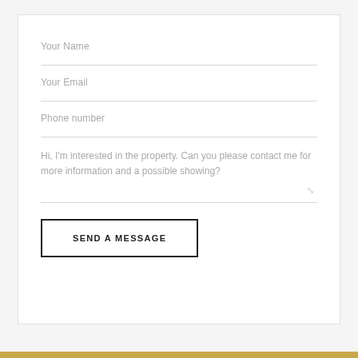Your Name
Your Email
Phone number
Hi, I'm interested in the property. Can you please contact me for more information and a possible showing?
SEND A MESSAGE